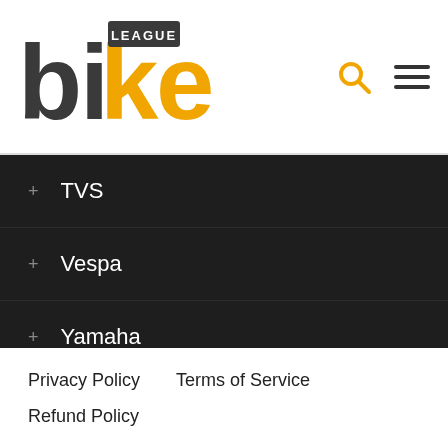[Figure (logo): Bike League logo with 'bike' in dark gray and orange letters and 'LEAGUE' text on a dark rectangle above the 'k']
TVS
Vespa
Yamaha
Yezdi
YO Bykes
Privacy Policy   Terms of Service   Refund Policy